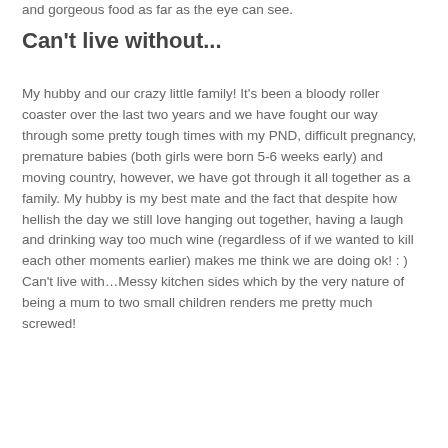and gorgeous food as far as the eye can see.
Can't live without...
My hubby and our crazy little family! It's been a bloody roller coaster over the last two years and we have fought our way through some pretty tough times with my PND, difficult pregnancy, premature babies (both girls were born 5-6 weeks early) and moving country, however, we have got through it all together as a family. My hubby is my best mate and the fact that despite how hellish the day we still love hanging out together, having a laugh and drinking way too much wine (regardless of if we wanted to kill each other moments earlier) makes me think we are doing ok! : )
Can't live with…Messy kitchen sides which by the very nature of being a mum to two small children renders me pretty much screwed!